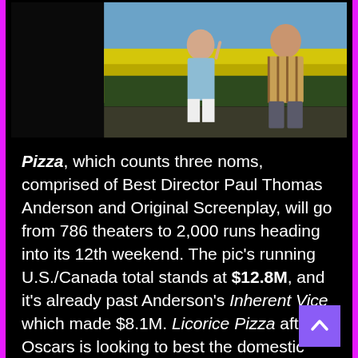[Figure (photo): Two people outdoors facing each other with yellow flowers/bushes in the background, appearing to interact or argue — a still from the film Licorice Pizza.]
Pizza, which counts three noms, comprised of Best Director Paul Thomas Anderson and Original Screenplay, will go from 786 theaters to 2,000 runs heading into its 12th weekend. The pic's running U.S./Canada total stands at $12.8M, and it's already past Anderson's Inherent Vice which made $8.1M. Licorice Pizza after Oscars is looking to best the domestic gross of the San Fernando valley filmmaker's 2012 movie The Master ($16M) and possibly even his 2002 Adam Sandler romantic comedy Punch Drunk Love ($18M). Global for Licorice Pizza is at $21.2M